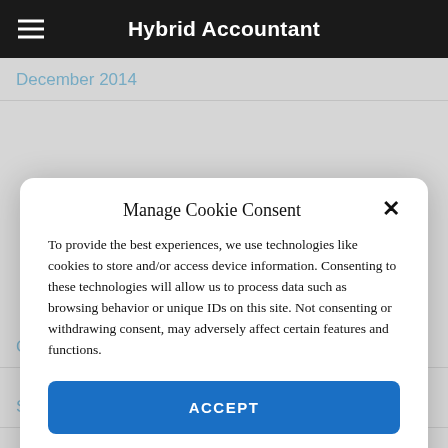Hybrid Accountant
December 2014
Manage Cookie Consent
To provide the best experiences, we use technologies like cookies to store and/or access device information. Consenting to these technologies will allow us to process data such as browsing behavior or unique IDs on this site. Not consenting or withdrawing consent, may adversely affect certain features and functions.
ACCEPT
Cookie Policy  YOUR PRIVACY
October 2013
September 2013